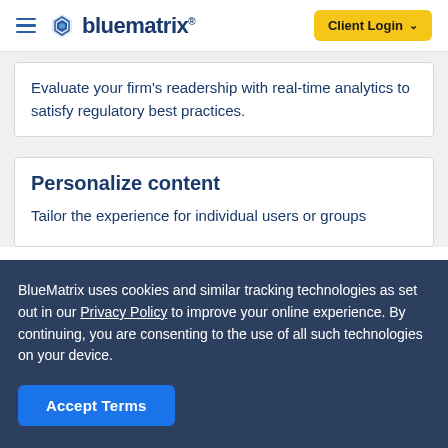bluematrix | Client Login
Evaluate your firm's readership with real-time analytics to satisfy regulatory best practices.
Personalize content
Tailor the experience for individual users or groups
BlueMatrix uses cookies and similar tracking technologies as set out in our Privacy Policy to improve your online experience. By continuing, you are consenting to the use of all such technologies on your device.